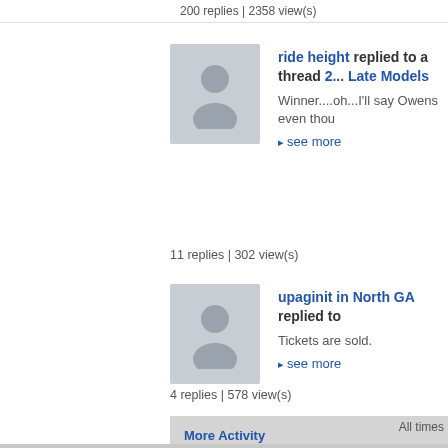200 replies | 2358 view(s)
ride height replied to a thread 2... Late Models
Winner....oh...I'll say Owens even thou
▸ see more
11 replies | 302 view(s)
upaginit in North GA replied to...
Tickets are sold.
▸ see more
4 replies | 578 view(s)
More Activity
All times
Contact Us - 4m.net
Pow
Copyright © 20